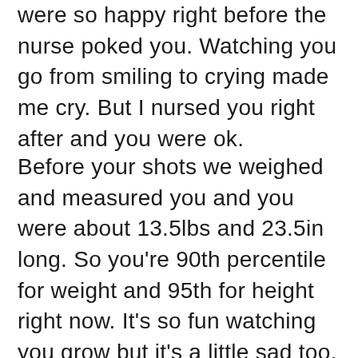were so happy right before the nurse poked you. Watching you go from smiling to crying made me cry. But I nursed you right after and you were ok.
Before your shots we weighed and measured you and you were about 13.5lbs and 23.5in long. So you're 90th percentile for weight and 95th for height right now. It's so fun watching you grow but it's a little sad too. Sometimes I feel like I already want to get to work on getting you a brother or a sister, but then again I don't think we're quite ready for that yet.